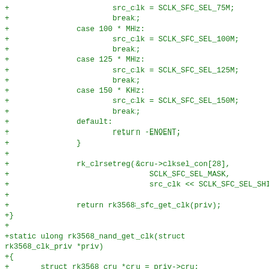Code diff showing C source code for rk3568 clock functions including switch cases for MHz/KHz clock selection, rk_clrsetreg call, and rk3568_nand_get_clk function definition with struct and variable declarations.